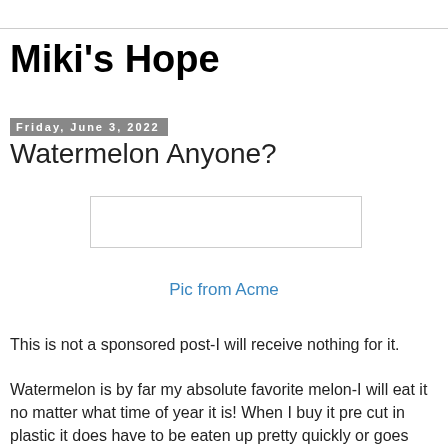Miki's Hope
Friday, June 3, 2022
Watermelon Anyone?
[Figure (photo): Image placeholder rectangle (watermelon image from Acme)]
Pic from Acme
This is not a sponsored post-I will receive nothing for it.
Watermelon is by far my absolute favorite melon-I will eat it no matter what time of year it is! When I buy it pre cut in plastic it does have to be eaten up pretty quickly or goes bad--but I will sometimes freeze it. It defrosts very fast and